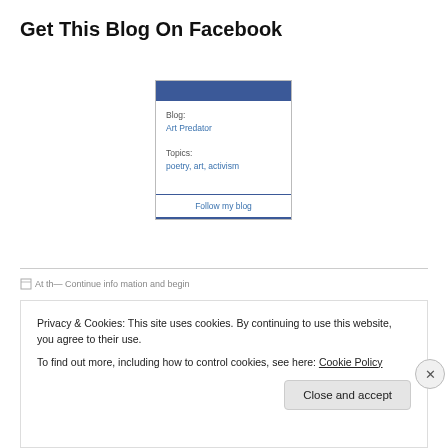Get This Blog On Facebook
[Figure (screenshot): Facebook blog widget card showing Blog: Art Predator, Topics: poetry, art, activism, with a Follow my blog button. Blue header bar and blue bottom border.]
Privacy & Cookies: This site uses cookies. By continuing to use this website, you agree to their use.
To find out more, including how to control cookies, see here: Cookie Policy
Close and accept